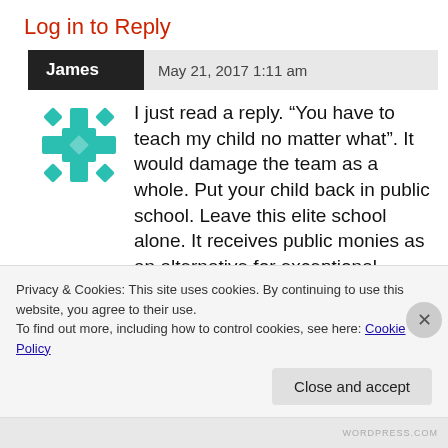Log in to Reply
James  May 21, 2017 1:11 am
[Figure (illustration): Teal/turquoise decorative avatar icon with geometric snowflake-like pattern]
I just read a reply. “You have to teach my child no matter what”. It would damage the team as a whole. Put your child back in public school. Leave this elite school alone. It receives public monies as an alternative for exceptional students, not for you to
Privacy & Cookies: This site uses cookies. By continuing to use this website, you agree to their use.
To find out more, including how to control cookies, see here: Cookie Policy
Close and accept